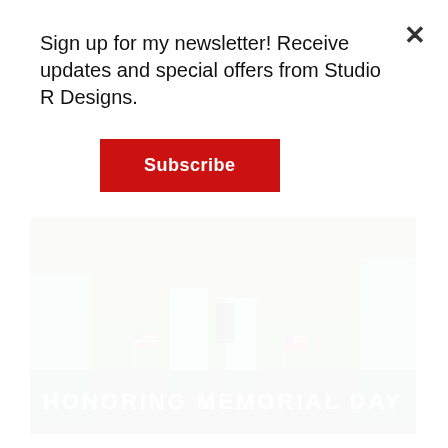[Figure (photo): Cemetery with green grass, American flags by gravestones, and a person walking in the background. Overlay text reads HONORING MEMORIAL DAY on a dark teal band.]
HONORING MEMORIAL DAY
Sign up for my newsletter! Receive updates and special offers from Studio R Designs.
Subscribe
For many people, Memorial Day is a day for gathering with family and friends over barbecue, in the great outdoors (when the weather is great) and pleasant conversation. Throughout the day, some might be blessed with stories shared throughout the generations. Some might even take a moment out of the day to pay respects for loved ones that have passed on by decorating their